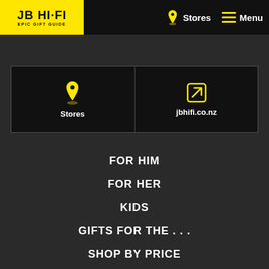JB HI-FI EPIC GIFT GUIDE
[Figure (screenshot): Navigation bar with JB HI-FI logo, Stores button with pin icon, and Menu button with hamburger icon]
Stores
jbhifi.co.nz
FOR HIM
FOR HER
KIDS
GIFTS FOR THE . . .
SHOP BY PRICE
PRODUCTS